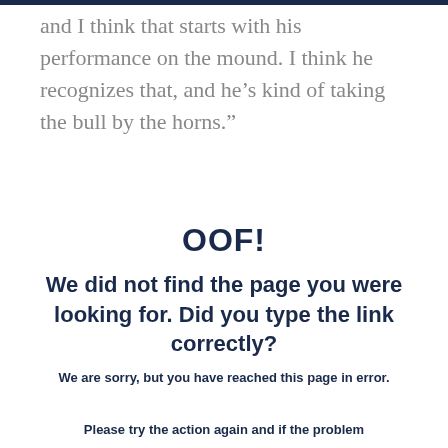and I think that starts with his performance on the mound. I think he recognizes that, and he's kind of taking the bull by the horns.”
OOF!
We did not find the page you were looking for. Did you type the link correctly?
We are sorry, but you have reached this page in error.
Please try the action again and if the problem